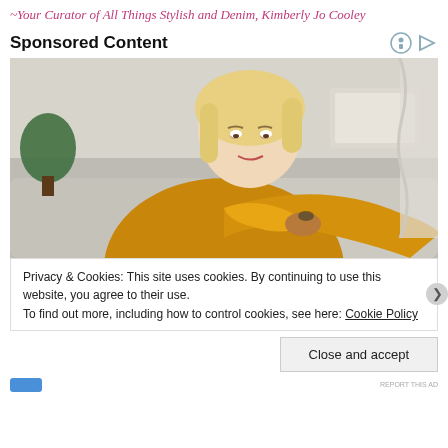~Your Curator of All Things Stylish and Denim, Kimberly Jo Cooley
Sponsored Content
[Figure (photo): A blonde woman in a yellow knit sweater looking down at her elbow, sitting on a couch in a living room setting.]
Privacy & Cookies: This site uses cookies. By continuing to use this website, you agree to their use.
To find out more, including how to control cookies, see here: Cookie Policy
Close and accept